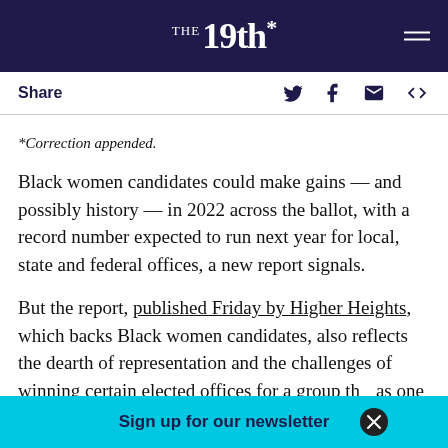The 19th*
Share
*Correction appended.
Black women candidates could make gains — and possibly history — in 2022 across the ballot, with a record number expected to run next year for local, state and federal offices, a new report signals.
But the report, published Friday by Higher Heights, which backs Black women candidates, also reflects the dearth of representation and the challenges of winning certain elected offices for a group that has one of the
Sign up for our newsletter